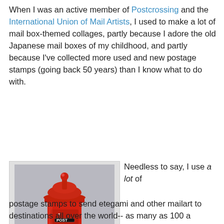When I was an active member of Postcrossing and the International Union of Mail Artists, I used to make a lot of mail box-themed collages, partly because I adore the old Japanese mail boxes of my childhood, and partly because I've collected more used and new postage stamps (going back 50 years) than I know what to do with.
[Figure (photo): A red Japanese-style cylindrical post box / mailbox figurine with 'POST' written on it, photographed against a gray background.]
Needless to say, I use a lot of postage stamps to send etegami and other mailart to destinations all over the world-- as many as 100 a month. It is a pleasure (but not a surprise) when the local post office shows its appreciation of my patronage with little gifts. Most often the gifts are useful items like a box of facial tissues or